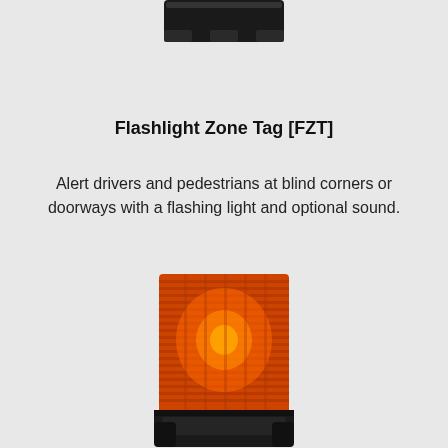[Figure (photo): Top portion of a Flashlight Zone Tag device with black plastic casing, viewed from above, partially cropped at the top of the page.]
Flashlight Zone Tag [FZT]
Alert drivers and pedestrians at blind corners or doorways with a flashing light and optional sound.
[Figure (photo): An orange/amber LED flashing beacon light (Flashlight Zone Tag) mounted on a black plastic base, showing the ribbed orange lens housing with bright LED illumination visible through the lens.]